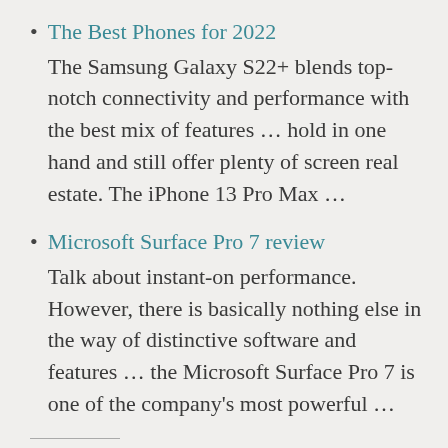The Best Phones for 2022
The Samsung Galaxy S22+ blends top-notch connectivity and performance with the best mix of features … hold in one hand and still offer plenty of screen real estate. The iPhone 13 Pro Max …
Microsoft Surface Pro 7 review
Talk about instant-on performance. However, there is basically nothing else in the way of distinctive software and features … the Microsoft Surface Pro 7 is one of the company's most powerful …
Share this: